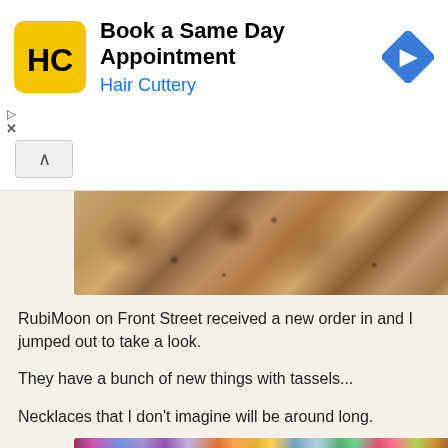[Figure (other): Hair Cuttery advertisement banner with HC logo, 'Book a Same Day Appointment' text, and navigation arrow icon]
[Figure (photo): Close-up photo of chocolate chip cookies stacked together on a light surface]
RubiMoon on Front Street received a new order in and I jumped out to take a look.
They have a bunch of new things with tassels...
Necklaces that I don't imagine will be around long.
[Figure (photo): Photo of colorful tassel necklaces and beaded jewelry in various colors including pink, blue, purple, orange, green]